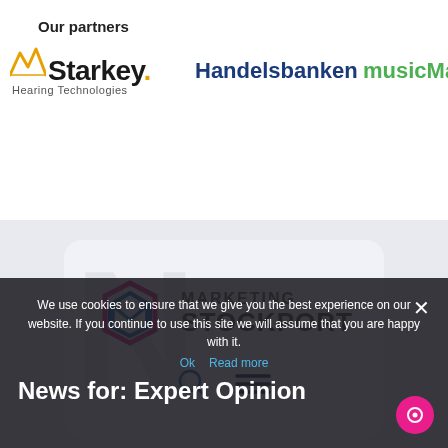Our partners
[Figure (logo): Starkey Hearing Technologies logo with yellow/gold star graphic]
[Figure (logo): Handelsbanken logo in dark blue bold text]
[Figure (logo): musicMagpi logo in green bold text]
[Figure (logo): Marketing Stockport logo with pink and blue envelope/box icon, search and menu icons below]
We use cookies to ensure that we give you the best experience on our website. If you continue to use this site we will assume that you are happy with it.
Ok  Read more
News for: Expert Opinion